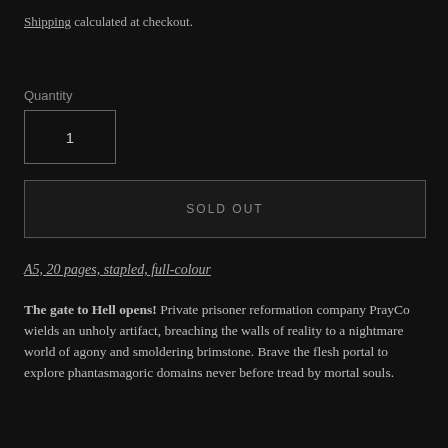Shipping calculated at checkout.
Quantity
1
SOLD OUT
A5, 20 pages, stapled, full-colour
The gate to Hell opens! Private prisoner reformation company PrayCo wields an unholy artifact, breaching the walls of reality to a nightmare world of agony and smoldering brimstone. Brave the flesh portal to explore phantasmagoric domains never before tread by mortal souls.